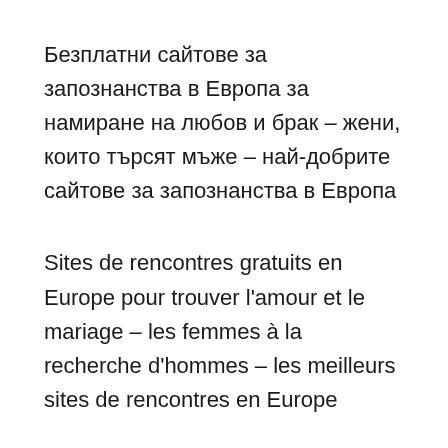Безплатни сайтове за запознанства в Европа за намиране на любов и брак – жени, които търсят мъже – най-добрите сайтове за запознанства в Европа
Sites de rencontres gratuits en Europe pour trouver l'amour et le mariage – les femmes à la recherche d'hommes – les meilleurs sites de rencontres en Europe
Kostenlose Dating-Seiten in Europa für die Suche nach Liebe und Ehe – Frauen auf der...